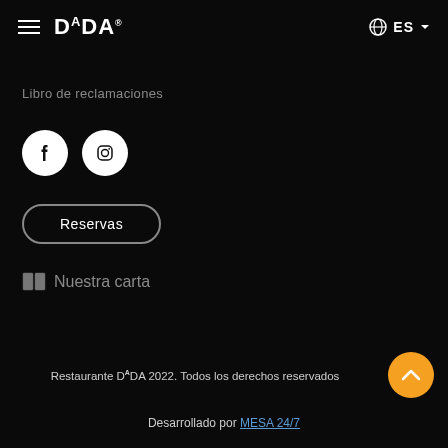DADA  ES
Libro de reclamaciones
[Figure (illustration): Facebook and Instagram social media icons as white circles with black icons]
Reservas
Nuestra carta
Restaurante DADA 2022. Todos los derechos reservados
Desarrollado por MESA 24/7